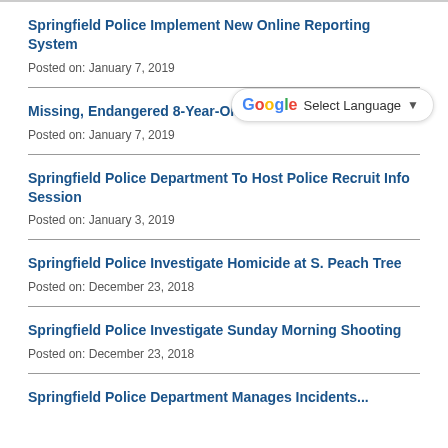Springfield Police Implement New Online Reporting System
Posted on: January 7, 2019
Missing, Endangered 8-Year-Old Found Safe
Posted on: January 7, 2019
Springfield Police Department To Host Police Recruit Info Session
Posted on: January 3, 2019
Springfield Police Investigate Homicide at S. Peach Tree
Posted on: December 23, 2018
Springfield Police Investigate Sunday Morning Shooting
Posted on: December 23, 2018
Springfield Police Department Manages Incidents...